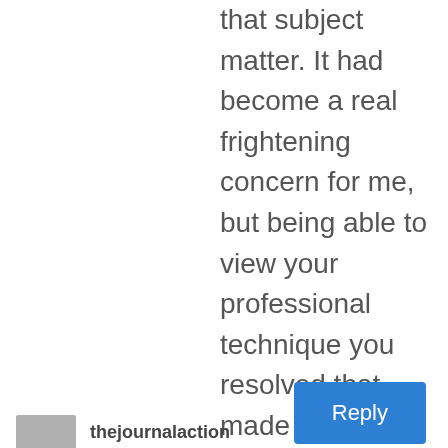that subject matter. It had become a real frightening concern for me, but being able to view your professional technique you resolved that made me to weep over gladness. I am happier for the support as well as sincerely hope you realize what an amazing job that you're getting into educating the mediocre ones via your site. I am certain you've never met any of us.
Reply
thejournalaction